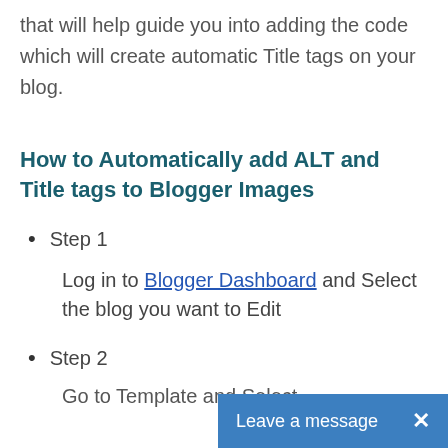that will help guide you into adding the code which will create automatic Title tags on your blog.
How to Automatically add ALT and Title tags to Blogger Images
Step 1
Log in to Blogger Dashboard and Select the blog you want to Edit
Step 2
Go to Template and Select